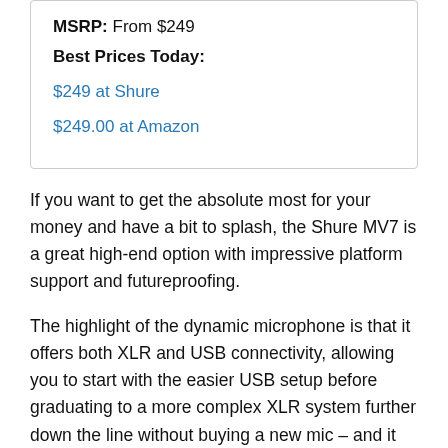MSRP: From $249
Best Prices Today:
$249 at Shure
$249.00 at Amazon
If you want to get the absolute most for your money and have a bit to splash, the Shure MV7 is a great high-end option with impressive platform support and futureproofing.
The highlight of the dynamic microphone is that it offers both XLR and USB connectivity, allowing you to start with the easier USB setup before graduating to a more complex XLR system further down the line without buying a new mic – and it also allows for simultaneous recording across both.